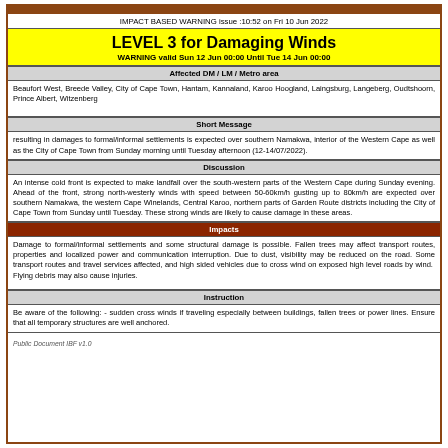IMPACT BASED WARNING issue :10:52 on Fri 10 Jun 2022
LEVEL 3 for Damaging Winds
WARNING valid Sun 12 Jun 00:00 Until Tue 14 Jun 00:00
Affected DM / LM / Metro area
Beaufort West, Breede Valley, City of Cape Town, Hantam, Kannaland, Karoo Hoogland, Laingsburg, Langeberg, Oudtshoorn, Prince Albert, Witzenberg
Short Message
resulting in damages to formal/informal settlements is expected over southern Namakwa, interior of the Western Cape as well as the City of Cape Town from Sunday morning until Tuesday afternoon (12-14/07/2022).
Discussion
An intense cold front is expected to make landfall over the south-western parts of the Western Cape during Sunday evening. Ahead of the front, strong north-westerly winds with speed between 50-60km/h gusting up to 80km/h are expected over southern Namakwa, the western Cape Winelands, Central Karoo, northern parts of Garden Route districts including the City of Cape Town from Sunday until Tuesday. These strong winds are likely to cause damage in these areas.
Impacts
Damage to formal/informal settlements and some structural damage is possible. Fallen trees may affect transport routes, properties and localized power and communication interruption. Due to dust, visibility may be reduced on the road. Some transport routes and travel services affected, and high sided vehicles due to cross wind on exposed high level roads by wind. Flying debris may also cause injuries.
Instruction
Be aware of the following: - sudden cross winds if traveling especially between buildings, fallen trees or power lines. Ensure that all temporary structures are well anchored.
Public Document IBF v1.0